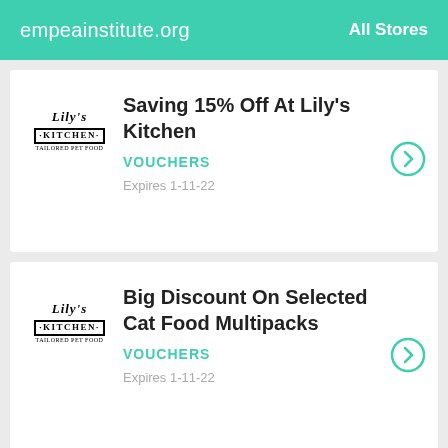empeainstitute.org   All Stores
Saving 15% Off At Lily's Kitchen
VOUCHERS
Expires 1-11-22
Big Discount On Selected Cat Food Multipacks
VOUCHERS
Expires 1-11-22